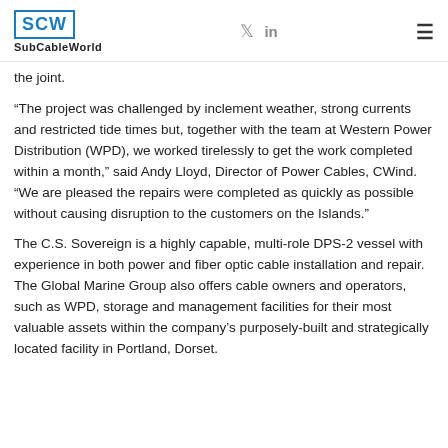SubCableWorld
the joint.
“The project was challenged by inclement weather, strong currents and restricted tide times but, together with the team at Western Power Distribution (WPD), we worked tirelessly to get the work completed within a month,” said Andy Lloyd, Director of Power Cables, CWind. “We are pleased the repairs were completed as quickly as possible without causing disruption to the customers on the Islands.”
The C.S. Sovereign is a highly capable, multi-role DPS-2 vessel with experience in both power and fiber optic cable installation and repair. The Global Marine Group also offers cable owners and operators, such as WPD, storage and management facilities for their most valuable assets within the company’s purposely-built and strategically located facility in Portland, Dorset.